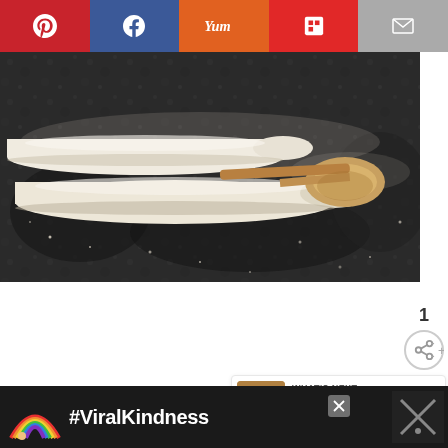[Figure (screenshot): Social sharing bar with Pinterest, Facebook, Yum, Flipboard, and Email buttons]
[Figure (photo): Food photography showing bread dough logs rolled on a dark floured granite surface with a wooden spoon]
[Figure (infographic): Heart/like button (teal circle) with count of 1, and a share button below]
1
[Figure (screenshot): What's Next panel with thumbnail of bread and text: Bread Baker's Apprentice...]
[Figure (screenshot): Ad banner with rainbow illustration and text #ViralKindness on dark background]